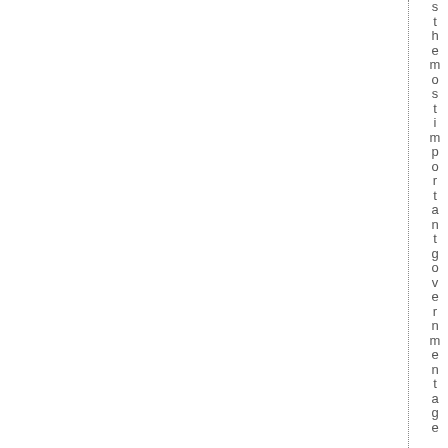sthemostimportantgovernmentage